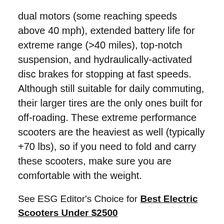dual motors (some reaching speeds above 40 mph), extended battery life for extreme range (>40 miles), top-notch suspension, and hydraulically-activated disc brakes for stopping at fast speeds. Although still suitable for daily commuting, their larger tires are the only ones built for off-roading. These extreme performance scooters are the heaviest as well (typically +70 lbs), so if you need to fold and carry these scooters, make sure you are comfortable with the weight.
See ESG Editor's Choice for Best Electric Scooters Under $2500
Electric Scooter Features